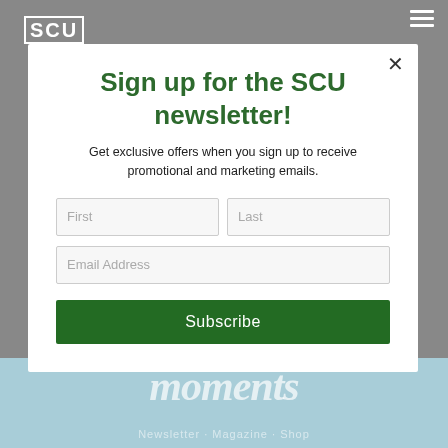SCU
Sign up for the SCU newsletter!
Get exclusive offers when you sign up to receive promotional and marketing emails.
[Figure (screenshot): Newsletter sign-up modal with First, Last, Email Address fields and Subscribe button]
Moments